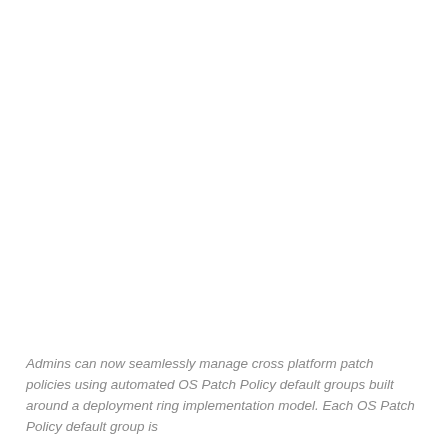[Figure (screenshot): A screenshot or image area of OS Patch Policy UI, mostly white/blank in this crop]
Admins can now seamlessly manage cross platform patch policies using automated OS Patch Policy default groups built around a deployment ring implementation model. Each OS Patch Policy default group is